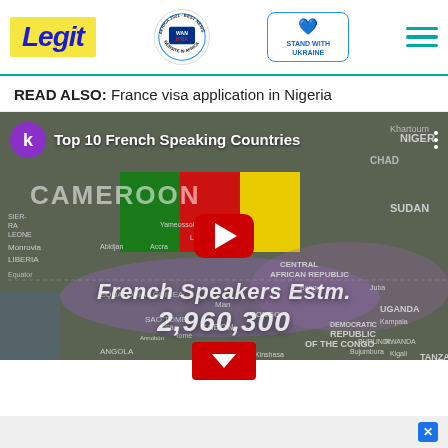Legit | WAN-IFRA 2021 Best News Website in Africa | Stand with Ukraine | Menu
READ ALSO: France visa application in Nigeria
[Figure (screenshot): YouTube video thumbnail showing a map of Africa with Cameroon highlighted in tri-color flag colors (green, red, yellow). The video title reads 'Top 10 French Speaking Countries'. A large YouTube play button is centered. Text overlay reads 'French Speakers Estm. 2,960,300'. Channel icon shows letter 'k' on purple background. Country labels visible: NIGER, CHAD, SUDAN, CAMEROON, SIERRA LEONE, LIBERIA, EQUATORIAL GUINEA, SAO TOME, GABON, ANGOLA, CENTRAL AFRICAN REPUBLIC, DEMOCRATIC REPUBLIC OF THE CONGO, TANZANIA, UGANDA, BURUNDI, RWANDA. Text 'Equator' visible on left.]
Source: Legit.ng